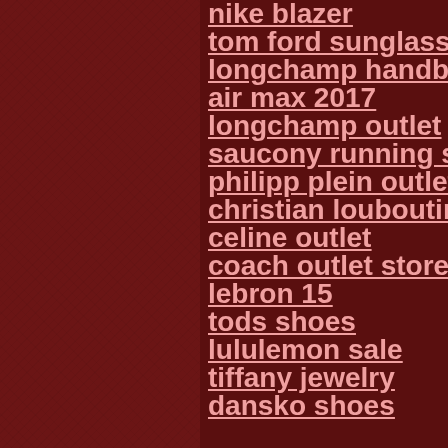nike blazer
tom ford sunglasses
longchamp handbags
air max 2017
longchamp outlet
saucony running shoes
philipp plein outlet
christian louboutin
celine outlet
coach outlet store
lebron 15
tods shoes
lululemon sale
tiffany jewelry
dansko shoes